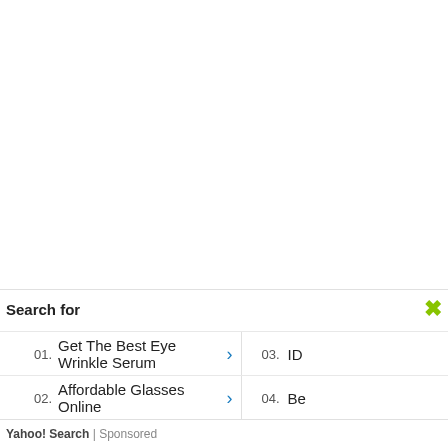Search for
01.  Get The Best Eye Wrinkle Serum  >  03.  ID
02.  Affordable Glasses Online  >  04.  Be
Yahoo! Search | Sponsored